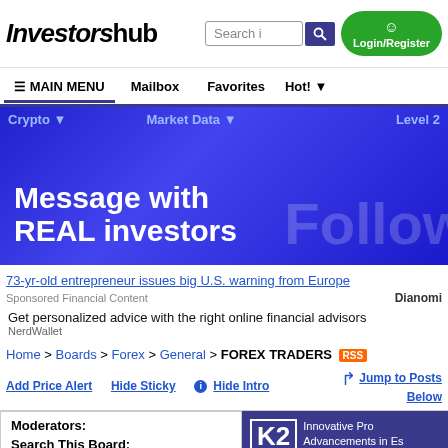[Figure (screenshot): InvestorsHub website header with logo, search box, login/register button]
MAIN MENU | Mailbox | Favorites | Hot!
[Figure (infographic): Blue banner with text 'Message with REAL investors' and 'Follow' ghost text]
73-yr-old entrepreneur issues big U.S. warning from Europe
Sponsored Financial Content
Dianomi
Get personalized advice with the right online financial advisors
NerdWallet
Home > Boards > Forex > General > FOREX TRADERS RSS
Add Price Alert
Hide Sticky
Hide Intro
Jump to Posts Below
| Moderators: | Search This Board: |
| --- | --- |